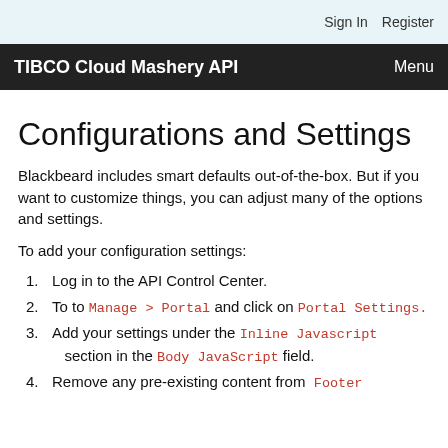Sign In  Register
TIBCO Cloud Mashery API  Menu
Configurations and Settings
Blackbeard includes smart defaults out-of-the-box. But if you want to customize things, you can adjust many of the options and settings.
To add your configuration settings:
1. Log in to the API Control Center.
2. To to Manage > Portal and click on Portal Settings.
3. Add your settings under the Inline Javascript section in the Body JavaScript field.
4. Remove any pre-existing content from Footer